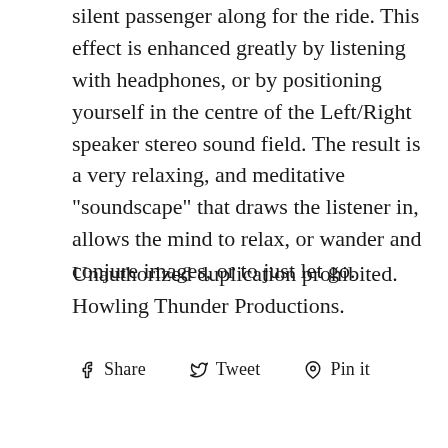silent passenger along for the ride. This effect is enhanced greatly by listening with headphones, or by positioning yourself in the centre of the Left/Right speaker stereo sound field. The result is a very relaxing, and meditative "soundscape" that draws the listener in, allows the mind to relax, or wander and conjure images, or to just let go.
Unauthorized duplication prohibited. Howling Thunder Productions.
Share  Tweet  Pin it